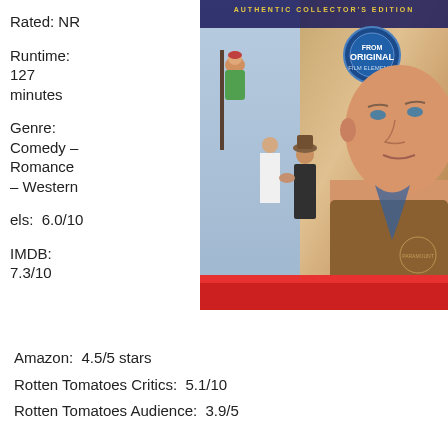Rated: NR
Runtime: 127 minutes
Genre: Comedy – Romance – Western
els:  6.0/10
IMDB: 7.3/10
[Figure (photo): Movie DVD cover - Authentic Collector's Edition with John Wayne, showing scenes from a western comedy romance film. Red bar at bottom.]
Amazon:  4.5/5 stars
Rotten Tomatoes Critics:  5.1/10
Rotten Tomatoes Audience:  3.9/5